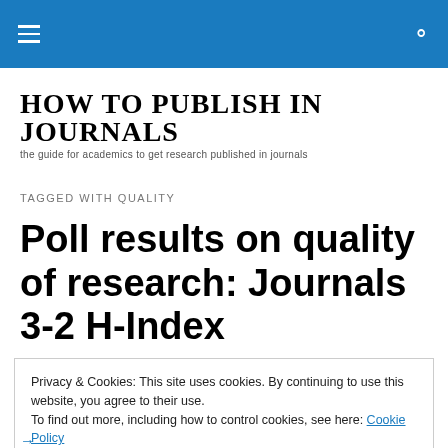HOW TO PUBLISH IN JOURNALS — the guide for academics to get research published in journals
TAGGED WITH QUALITY
Poll results on quality of research: Journals 3-2 H-Index
Privacy & Cookies: This site uses cookies. By continuing to use this website, you agree to their use.
To find out more, including how to control cookies, see here: Cookie Policy
Close and accept